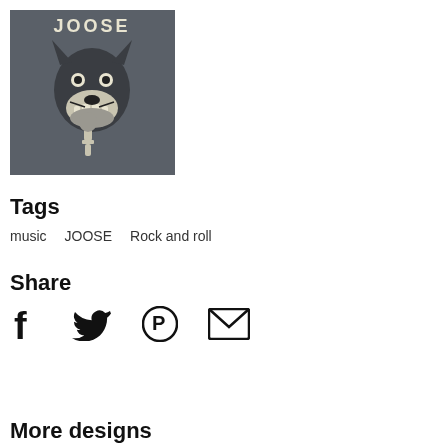[Figure (illustration): Dark grey square image with 'JOOSE' text at top and an illustrated snarling dog/wolf head holding a microphone, in cream/off-white on dark grey background.]
Tags
music   JOOSE   Rock and roll
Share
[Figure (infographic): Social share icons: Facebook (f), Twitter (bird), Pinterest (P circle), Email (envelope)]
More designs